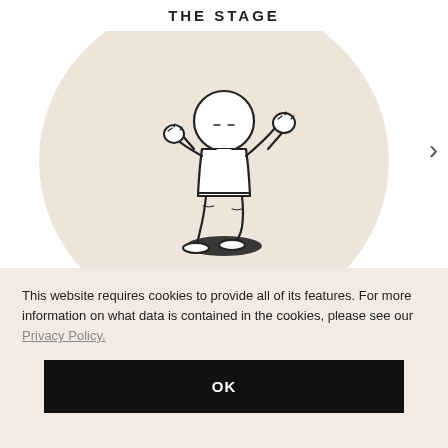THE STAGE
[Figure (illustration): A simple black-and-white line drawing of a toddler/baby standing on a beige circular background, arms raised slightly, feet planted, facing forward. A dark shadow beneath the feet.]
This website requires cookies to provide all of its features. For more information on what data is contained in the cookies, please see our Privacy Policy.
OK